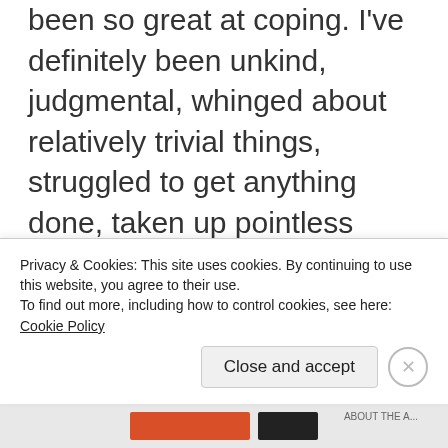been so great at coping. I've definitely been unkind, judgmental, whinged about relatively trivial things, struggled to get anything done, taken up pointless baking (and eating far too much of the results), developed a taste for gin, and let my email inbox get out of control.
However, I have also tried to do my best under difficult circumstances. I've tried really hard to continue to share as much book love, cat photos, and positivity as
Privacy & Cookies: This site uses cookies. By continuing to use this website, you agree to their use.
To find out more, including how to control cookies, see here:
Cookie Policy
Close and accept